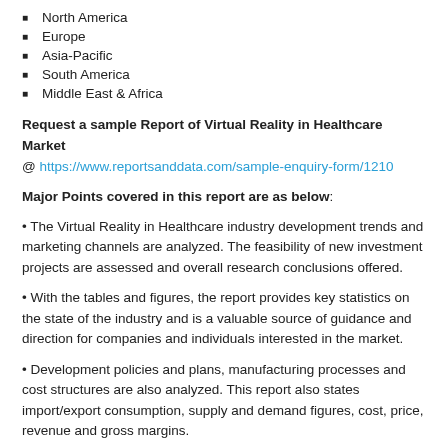North America
Europe
Asia-Pacific
South America
Middle East & Africa
Request a sample Report of Virtual Reality in Healthcare Market @ https://www.reportsanddata.com/sample-enquiry-form/1210
Major Points covered in this report are as below:
• The Virtual Reality in Healthcare industry development trends and marketing channels are analyzed. The feasibility of new investment projects are assessed and overall research conclusions offered.
• With the tables and figures, the report provides key statistics on the state of the industry and is a valuable source of guidance and direction for companies and individuals interested in the market.
• Development policies and plans, manufacturing processes and cost structures are also analyzed. This report also states import/export consumption, supply and demand figures, cost, price, revenue and gross margins.